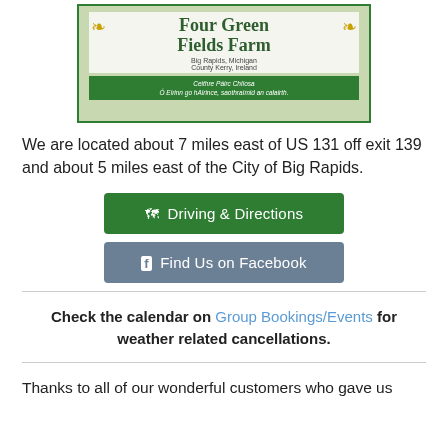[Figure (photo): Farm sign for Four Green Fields Farm, Big Rapids, Michigan / County Kerry, Ireland, with Celtic decorations and an Irish language inscription on a green bar]
We are located about 7 miles east of US 131 off exit 139 and about 5 miles east of the City of Big Rapids.
🗺 Driving & Directions
f Find Us on Facebook
Check the calendar on Group Bookings/Events for weather related cancellations.
Thanks to all of our wonderful customers who gave us